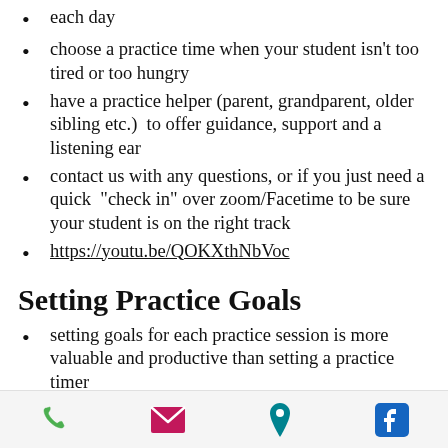each day
choose a practice time when your student isn't too tired or too hungry
have a practice helper (parent, grandparent, older sibling etc.)  to offer guidance, support and a listening ear
contact us with any questions, or if you just need a quick "check in" over zoom/Facetime to be sure your student is on the right track
https://youtu.be/QOKXthNbVoc
Setting Practice Goals
setting goals for each practice session is more valuable and productive than setting a practice timer
create a short "to do" list for each
phone | email | location | facebook